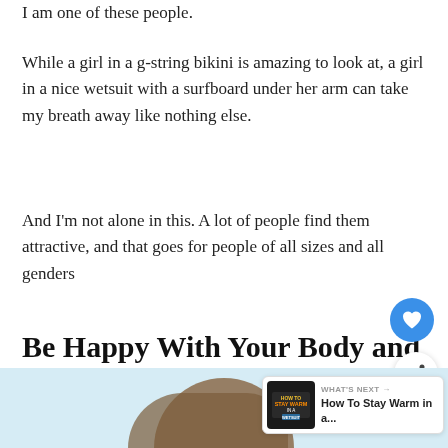I am one of these people.
While a girl in a g-string bikini is amazing to look at, a girl in a nice wetsuit with a surfboard under her arm can take my breath away like nothing else.
And I'm not alone in this. A lot of people find them attractive, and that goes for people of all sizes and all genders
Be Happy With Your Body and Have Fun
[Figure (photo): Bottom portion of page showing a person's head, light blue background. Overlay elements: heart button (blue circle), share button (white circle with share icon), and a 'WHAT'S NEXT' card showing 'How To Stay Warm in a...' with a thumbnail.]